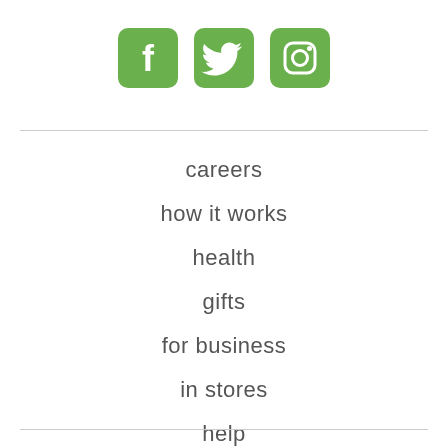[Figure (illustration): Three green social media icon buttons: Facebook, Twitter, Instagram]
careers
how it works
health
gifts
for business
in stores
help